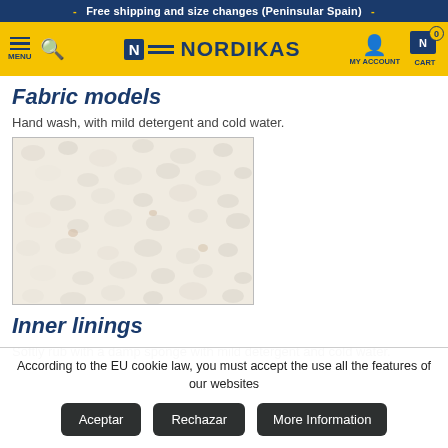- Free shipping and size changes (Peninsular Spain) -
[Figure (logo): Nordikas logo with hamburger menu, search icon, MY ACCOUNT and CART navigation on yellow background]
Fabric models
Hand wash, with mild detergent and cold water.
[Figure (photo): Close-up texture of cream/white fabric material]
Inner linings
Softly rub with a damp sponge with mild detergent and cold water.
According to the EU cookie law, you must accept the use all the features of our websites
Aceptar | Rechazar | More Information